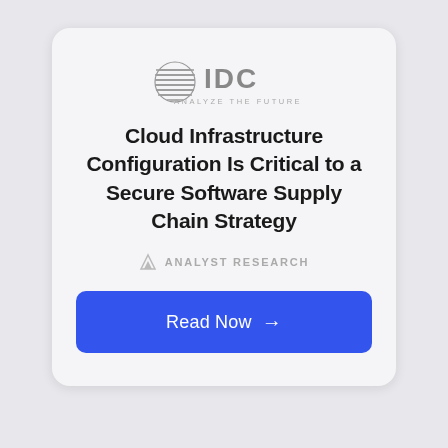[Figure (logo): IDC logo with globe icon and text 'IDC ANALYZE THE FUTURE']
Cloud Infrastructure Configuration Is Critical to a Secure Software Supply Chain Strategy
ANALYST RESEARCH
Read Now →